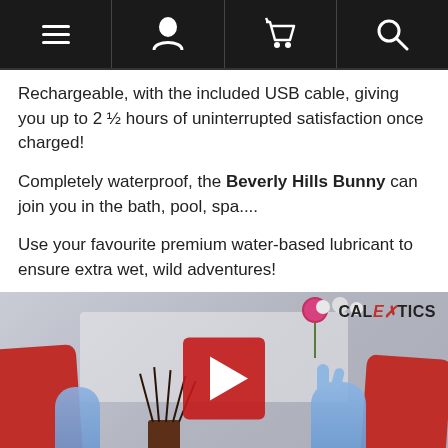Navigation bar with menu, user, cart, and search icons
Rechargeable, with the included USB cable, giving you up to 2 ½ hours of uninterrupted satisfaction once charged!
Completely waterproof, the Beverly Hills Bunny can join you in the bath, pool, spa....
Use your favourite premium water-based lubricant to ensure extra wet, wild adventures!
[Figure (screenshot): Video thumbnail showing a blue rabbit vibrator product with Calexotics branding, a red play button overlay, flowers and diffuser in background, red cushions. Bottom banner reads: FOR THE FLICKERING TEASER WITH 10 FUNCTIONS]